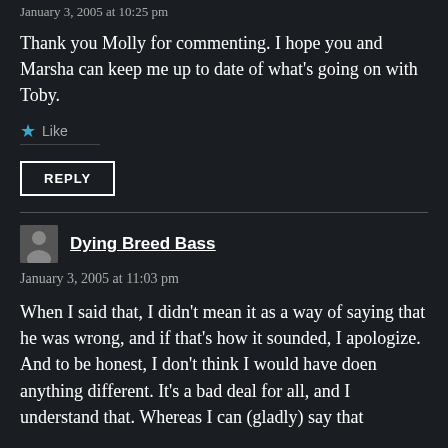January 3, 2005 at 10:25 pm
Thank you Molly for commenting. I hope you and Marsha can keep me up to date of what's going on with Toby.
★ Like
REPLY
Dying Breed Bass
January 3, 2005 at 11:03 pm
When I said that, I didn't mean it as a way of saying that he was wrong, and if that's how it sounded, I apologize. And to be honest, I don't think I would have doen anything different. It's a bad deal for all, and I understand that. Whereas I can (gladly) say that